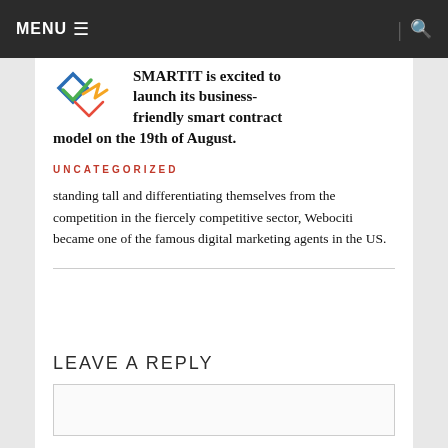MENU ☰  | 🔍
[Figure (logo): Colorful geometric logo with diamond/arrow shapes in blue, green, yellow, and orange]
SMARTIT is excited to launch its business-friendly smart contract model on the 19th of August.
UNCATEGORIZED
standing tall and differentiating themselves from the competition in the fiercely competitive sector, Webociti became one of the famous digital marketing agents in the US.
LEAVE A REPLY